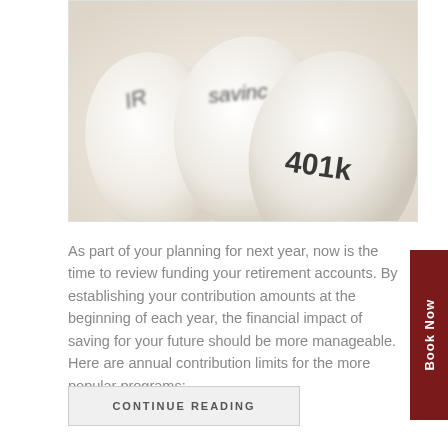[Figure (photo): Three white egg-shaped objects with financial account labels stamped on them: 'IRA', 'savings', and '401k', photographed on a white background.]
As part of your planning for next year, now is the time to review funding your retirement accounts. By establishing your contribution amounts at the beginning of each year, the financial impact of saving for your future should be more manageable. Here are annual contribution limits for the more popular programs:
CONTINUE READING